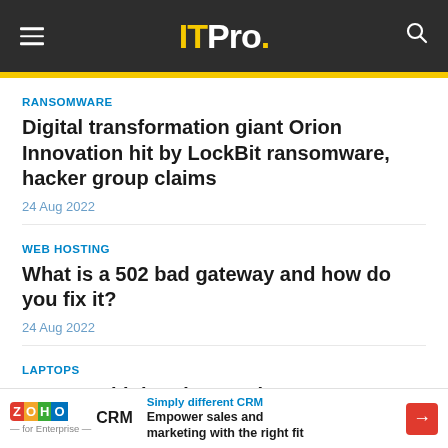ITPro.
RANSOMWARE
Digital transformation giant Orion Innovation hit by LockBit ransomware, hacker group claims
24 Aug 2022
WEB HOSTING
What is a 502 bad gateway and how do you fix it?
24 Aug 2022
LAPTOPS
Lenovo ThinkPad X1 Carbon Gen 10 review: Quite simply the best compact business laptop
Simply different CRM
Empower sales and marketing with the right fit